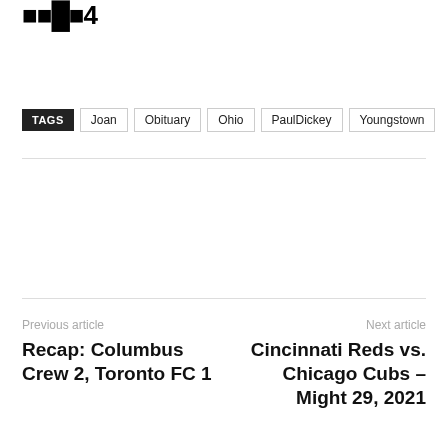LINC4
TAGS  Joan  Obituary  Ohio  PaulDickey  Youngstown
Previous article
Recap: Columbus Crew 2, Toronto FC 1
Next article
Cincinnati Reds vs. Chicago Cubs – Might 29, 2021